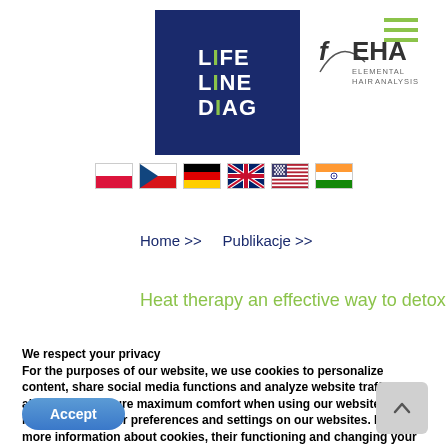[Figure (logo): LifeLine Diag logo - dark blue square with white bold text LIFE LINE DIAG with green I accent, next to FEHA Elemental Hair Analysis logo]
[Figure (infographic): Six country flag icons in a row: Poland, Czech Republic, Germany, United Kingdom, United States, India]
Home >> Publikacje >>
Heat therapy an effective way to detox
We respect your privacy
For the purposes of our website, we use cookies to personalize content, share social media functions and analyze website traffic. This allows us to ensure maximum comfort when using our websites by remembering your preferences and settings on our websites. For more information about cookies, their functioning and changing your browser settings regarding the use of cookies, see our PRIVACY POLICY .